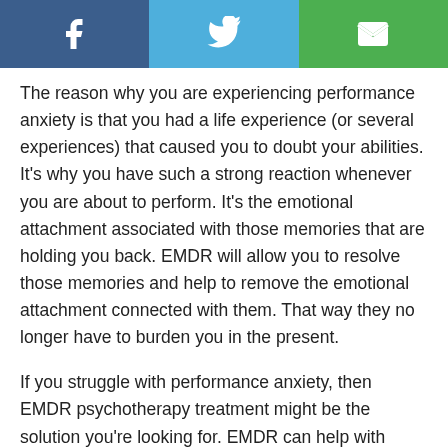[Figure (other): Social sharing header bar with Facebook (blue), Twitter (light blue), and Email (green) icons]
The reason why you are experiencing performance anxiety is that you had a life experience (or several experiences) that caused you to doubt your abilities. It’s why you have such a strong reaction whenever you are about to perform. It’s the emotional attachment associated with those memories that are holding you back. EMDR will allow you to resolve those memories and help to remove the emotional attachment connected with them. That way they no longer have to burden you in the present.
If you struggle with performance anxiety, then EMDR psychotherapy treatment might be the solution you’re looking for. EMDR can help with performance anxiety by bringing closure to